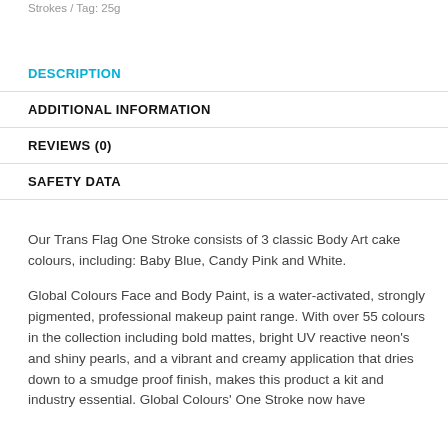Strokes / Tag: 25g
DESCRIPTION
ADDITIONAL INFORMATION
REVIEWS (0)
SAFETY DATA
Our Trans Flag One Stroke consists of 3 classic Body Art cake colours, including: Baby Blue, Candy Pink and White.
Global Colours Face and Body Paint, is a water-activated, strongly pigmented, professional makeup paint range. With over 55 colours in the collection including bold mattes, bright UV reactive neon's and shiny pearls, and a vibrant and creamy application that dries down to a smudge proof finish, makes this product a kit and industry essential. Global Colours' One Stroke now have